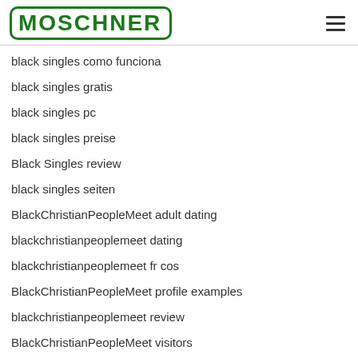[Figure (logo): MOSCHNER logo in green text inside a rounded green border rectangle, with a hamburger menu icon on the right]
black singles como funciona
black singles gratis
black singles pc
black singles preise
Black Singles review
black singles seiten
BlackChristianPeopleMeet adult dating
blackchristianpeoplemeet dating
blackchristianpeoplemeet fr cos
BlackChristianPeopleMeet profile examples
blackchristianpeoplemeet review
BlackChristianPeopleMeet visitors